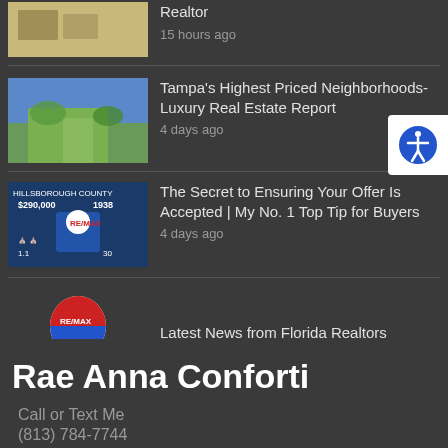Realtor
15 hours ago
Tampa's Highest Priced Neighborhoods-Luxury Real Estate Report
4 days ago
The Secret to Ensuring Your Offer Is Accepted | My No. 1 Top Tip for Buyers
4 days ago
Latest News from Florida Realtors
4 days ago
Rae Anna Conforti
Call or Text Me
(813) 784-7744